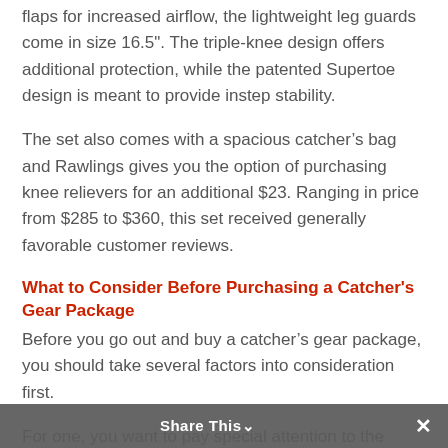flaps for increased airflow, the lightweight leg guards come in size 16.5". The triple-knee design offers additional protection, while the patented Supertoe design is meant to provide instep stability.
The set also comes with a spacious catcher's bag and Rawlings gives you the option of purchasing knee relievers for an additional $23. Ranging in price from $285 to $360, this set received generally favorable customer reviews.
What to Consider Before Purchasing a Catcher's Gear Package
Before you go out and buy a catcher's gear package, you should take several factors into consideration first.
For one, you want to pay special attention to the sizing options, since adult catcher's sets are for ages 15 and older. You want to make sure
Share This